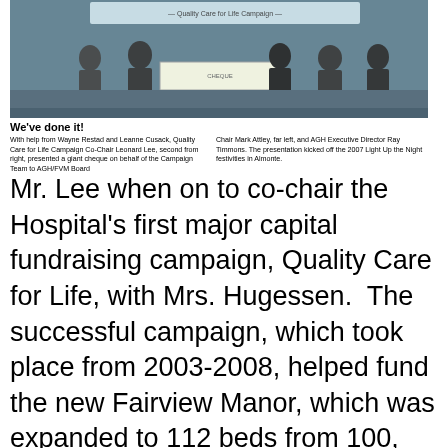[Figure (photo): Photograph showing a group of people presenting a giant cheque at an event, with a banner visible in the background.]
We've done it!
With help from Wayne Restad and Leanne Cusack, Quality Care for Life Campaign Co-Chair Leonard Lee, second from right, presented a giant cheque on behalf of the Campaign Team to AGH/FVM Board Chair Mark Attley, far left, and AGH Executive Director Ray Timmons. The presentation kicked off the 2007 Light Up the Night festivities in Almonte.
Mr. Lee when on to co-chair the Hospital's first major capital fundraising campaign, Quality Care for Life, with Mrs. Hugessen.  The successful campaign, which took place from 2003-2008, helped fund the new Fairview Manor, which was expanded to 112 beds from 100, and saw renovations to the Emergency, Obstetrics, X-Ray and Ultrasound departments which were all completely modernized.  Their efforts helped encourage generous community support totalling $4 million of the total $29 million capital improvement costs.